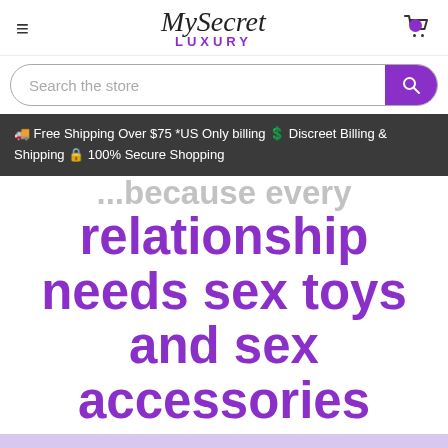MySecret LUXURY — Navigation header with hamburger menu, logo, and cart icon
Search the store
🚚 Free Shipping Over $75 *US Only billing 💲 Discreet Billing & Shipping 🔒 100% Secure Shopping
...because every relationship needs sex toys and sex accessories